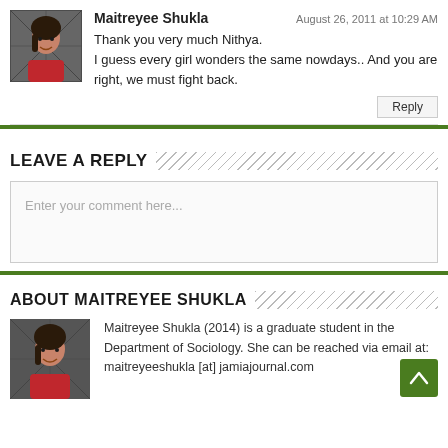Maitreyee Shukla — August 26, 2011 at 10:29 AM — Thank you very much Nithya. I guess every girl wonders the same nowdays.. And you are right, we must fight back.
LEAVE A REPLY
Enter your comment here...
ABOUT MAITREYEE SHUKLA
Maitreyee Shukla (2014) is a graduate student in the Department of Sociology. She can be reached via email at: maitreyeeshukla [at] jamiajournal.com